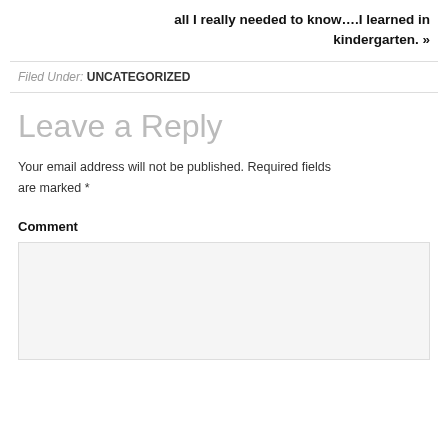all I really needed to know….I learned in kindergarten. »
Filed Under: UNCATEGORIZED
Leave a Reply
Your email address will not be published. Required fields are marked *
Comment